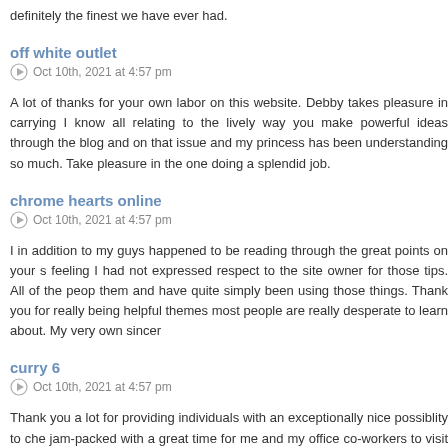definitely the finest we have ever had.
off white outlet
Oct 10th, 2021 at 4:57 pm
A lot of thanks for your own labor on this website. Debby takes pleasure in carrying I know all relating to the lively way you make powerful ideas through the blog and on that issue and my princess has been understanding so much. Take pleasure in the one doing a splendid job.
chrome hearts online
Oct 10th, 2021 at 4:57 pm
I in addition to my guys happened to be reading through the great points on your s feeling I had not expressed respect to the site owner for those tips. All of the peop them and have quite simply been using those things. Thank you for really being helpful themes most people are really desperate to learn about. My very own sincer
curry 6
Oct 10th, 2021 at 4:57 pm
Thank you a lot for providing individuals with an exceptionally nice possibility to ch jam-packed with a great time for me and my office co-workers to visit your site at a issues you will have. And lastly, I am also certainly satisfied with the very good op